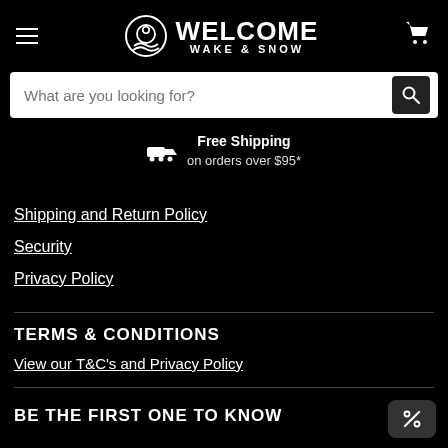Welcome Wake & Snow — navigation header with hamburger menu, logo, and cart icon
What are you looking for?
Free Shipping on orders over $95*
Shipping and Return Policy
Security
Privacy Policy
TERMS & CONDITIONS
View our T&C's and Privacy Policy
BE THE FIRST ONE TO KNOW